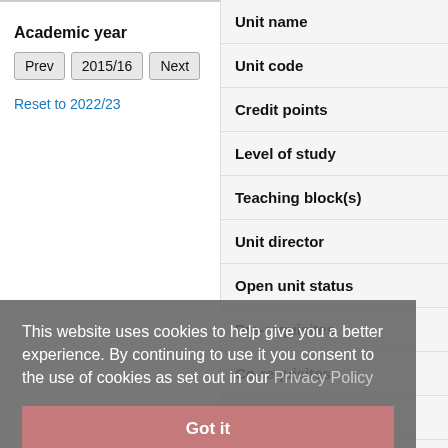Academic year
Prev  2015/16  Next
Reset to 2022/23
| Unit name |
| Unit code |
| Credit points |
| Level of study |
| Teaching block(s) |
| Unit director |
| Open unit status |
| Pre-requisites |
| Co-requisites |
| School/department |
| Faculty |
This website uses cookies to help give you a better experience. By continuing to use it you consent to the use of cookies as set out in our Privacy Policy
Got it